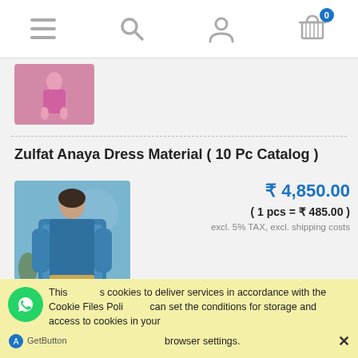[Figure (screenshot): Mobile e-commerce website navigation bar with hamburger menu, search, user, and cart icons (cart shows badge 0)]
[Figure (photo): Thumbnail of previous product showing pink dress/salwar on model]
Zulfat Anaya Dress Material ( 10 Pc Catalog )
[Figure (photo): Product photo of Zulfat Anaya Dress Material showing model in blue printed salwar suit]
₹ 4,850.00
( 1 pcs = ₹ 485.00 )
excl. 5% TAX, excl. shipping costs
This uses cookies to deliver services in accordance with the Cookie Files Policy. You can set the conditions for storage and access to cookies in your browser settings. ✕